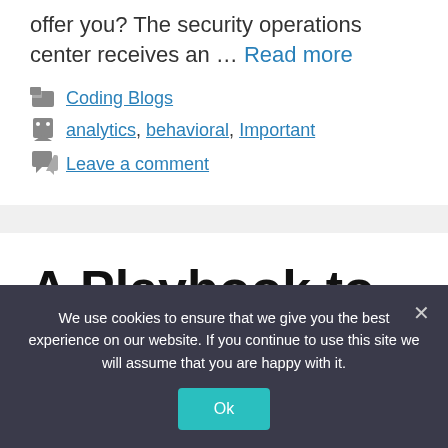offer you? The security operations center receives an … Read more
Coding Blogs
analytics, behavioral, Important
Leave a comment
A Playbook to Properly Implement
We use cookies to ensure that we give you the best experience on our website. If you continue to use this site we will assume that you are happy with it.